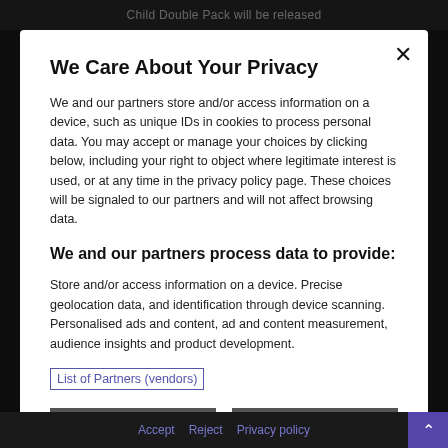Child Double Pack will be released
We Care About Your Privacy
We and our partners store and/or access information on a device, such as unique IDs in cookies to process personal data. You may accept or manage your choices by clicking below, including your right to object where legitimate interest is used, or at any time in the privacy policy page. These choices will be signaled to our partners and will not affect browsing data.
We and our partners process data to provide:
Store and/or access information on a device. Precise geolocation data, and identification through device scanning. Personalised ads and content, ad and content measurement, audience insights and product development.
List of Partners (vendors)
Reject All
I Accept
Show Purposes
Accept   Reject   Privacy policy